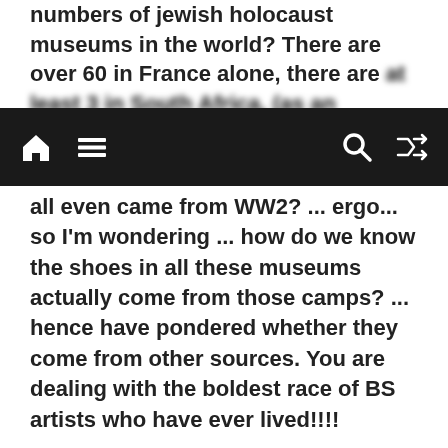numbers of jewish holocaust museums in the world? There are over 60 in France alone, there are at least 3 in South Africa, (as an aside)... The
[Figure (screenshot): Dark navigation bar with home icon, hamburger menu icon on left; search icon and shuffle/random icon on right]
all even came from WW2? ... ergo... so I'm wondering ... how do we know the shoes in all these museums actually come from those camps? ... hence have pondered whether they come from other sources. You are dealing with the boldest race of BS artists who have ever lived!!!!
Share this:
[Figure (screenshot): Row of social sharing icon circles: Twitter (blue), Facebook (blue), Pinterest (red/dark), LinkedIn (teal), Reddit (light), Pocket (red), Telegram (blue), Skype (cyan), Email (grey), WhatsApp (green); second row: Tumblr (dark blue), Print (light grey)]
Like this: